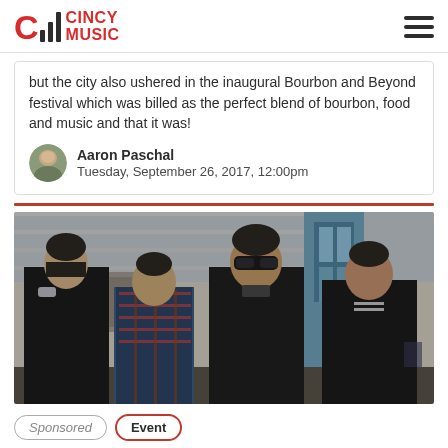CINCY MUSIC
but the city also ushered in the inaugural Bourbon and Beyond festival which was billed as the perfect blend of bourbon, food and music and that it was!
Aaron Paschal
Tuesday, September 26, 2017, 12:00pm
[Figure (photo): Band photo of four young men in dark clothing standing in front of a weathered white wooden building with blue-trimmed windows. One member wears sunglasses.]
Sponsored
Event